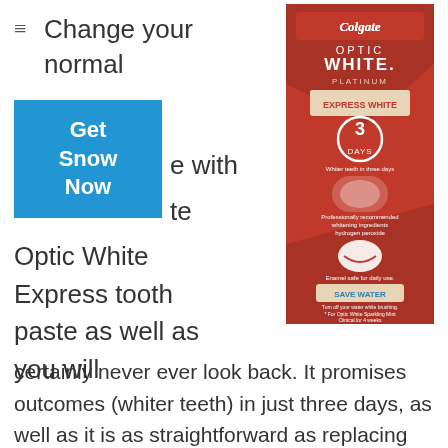Change your normal
[Figure (photo): Colgate Optic White Platinum Express White toothpaste box, red packaging with 3 Days badge and Save Water label]
Get Snow Now
e with
te
Optic White Express tooth paste as well as you will certainly never ever look back. It promises outcomes (whiter teeth) in just three days, as well as it is as straightforward as replacing your existing tube. This Optic White toothpaste has 2 times of the teeth bleaching power of routine toothpaste, yet do not allow its power turn you